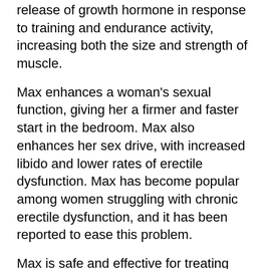release of growth hormone in response to training and endurance activity, increasing both the size and strength of muscle.
Max enhances a woman's sexual function, giving her a firmer and faster start in the bedroom. Max also enhances her sex drive, with increased libido and lower rates of erectile dysfunction. Max has become popular among women struggling with chronic erectile dysfunction, and it has been reported to ease this problem.
Max is safe and effective for treating anabolic and anandamide related problems, including those caused by adrenal fatigue, hyporesponsiveness, and/or anorexia. Men who suffer from acne should not use Max because of the risk of worsening acne.